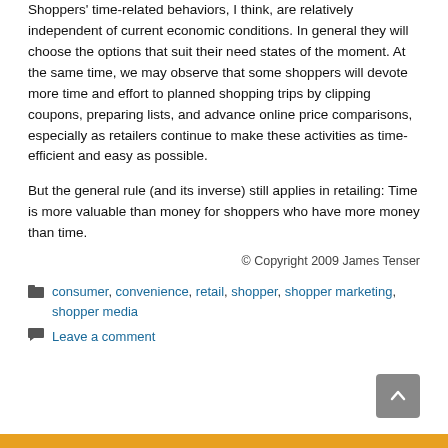Shoppers' time-related behaviors, I think, are relatively independent of current economic conditions. In general they will choose the options that suit their need states of the moment. At the same time, we may observe that some shoppers will devote more time and effort to planned shopping trips by clipping coupons, preparing lists, and advance online price comparisons, especially as retailers continue to make these activities as time-efficient and easy as possible.
But the general rule (and its inverse) still applies in retailing: Time is more valuable than money for shoppers who have more money than time.
© Copyright 2009 James Tenser
consumer, convenience, retail, shopper, shopper marketing, shopper media
Leave a comment